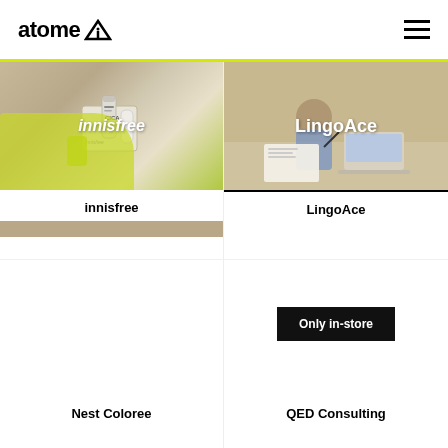atome
[Figure (screenshot): Innisfree merchant card with photo of skincare products]
[Figure (screenshot): LingoAce merchant card with photo of child studying]
innisfree
LingoAce
[Figure (screenshot): Nest Coloree merchant card placeholder]
[Figure (screenshot): QED Consulting merchant card with Only in-store badge]
Nest Coloree
QED Consulting